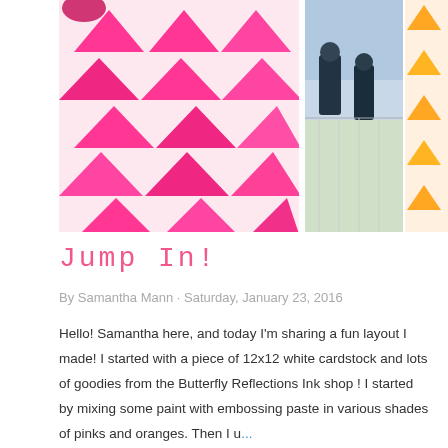[Figure (photo): A scrapbook layout photo showing a wall covered in hot pink triangles/pennants on white background (left portion), and on the right, photos of two children near a pool mounted on orange triangle patterned paper.]
Jump In!
By Samantha Mann · Saturday, January 23, 2016
Hello! Samantha here, and today I'm sharing a fun layout I made! I started with a piece of 12x12 white cardstock and lots of goodies from the Butterfly Reflections Ink shop ! I started by mixing some paint with embossing paste in various shades of pinks and oranges. Then I u...